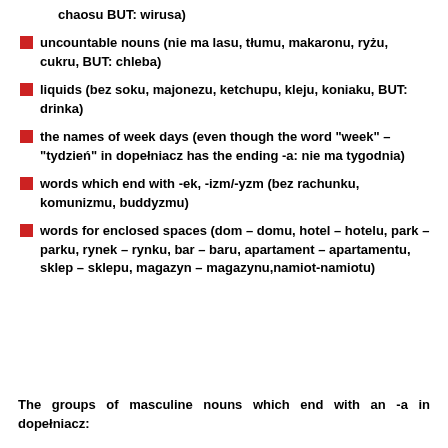chaosu BUT: wirusa)
uncountable nouns (nie ma lasu, tłumu, makaronu, ryżu, cukru, BUT: chleba)
liquids (bez soku, majonezu, ketchupu, kleju, koniaku, BUT: drinka)
the names of week days (even though the word "week" – "tydzień" in dopełniacz has the ending -a: nie ma tygodnia)
words which end with -ek, -izm/-yzm (bez rachunku, komunizmu, buddyzmu)
words for enclosed spaces (dom – domu, hotel – hotelu, park – parku, rynek – rynku, bar – baru, apartament – apartamentu, sklep – sklepu, magazyn – magazynu,namiot-namiotu)
The groups of masculine nouns which end with an -a in dopełniacz: